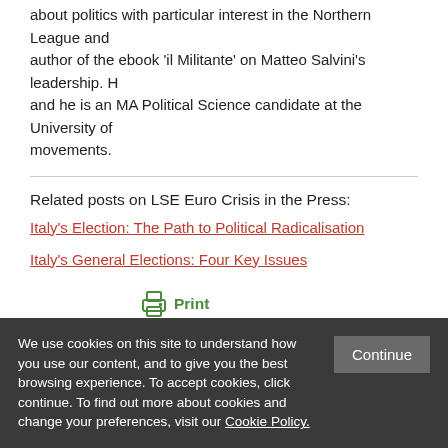about politics with particular interest in the Northern League and author of the ebook 'il Militante' on Matteo Salvini's leadership. H and he is an MA Political Science candidate at the University of movements.
Related posts on LSE Euro Crisis in the Press:
Italy's Election: The Path to Political Radicalisation
Italy's General Elections: Four Key Issues
[Figure (other): Print icon with green printer graphic and 'Print' label in green text]
Share:
We use cookies on this site to understand how you use our content, and to give you the best browsing experience. To accept cookies, click continue. To find out more about cookies and change your preferences, visit our Cookie Policy.